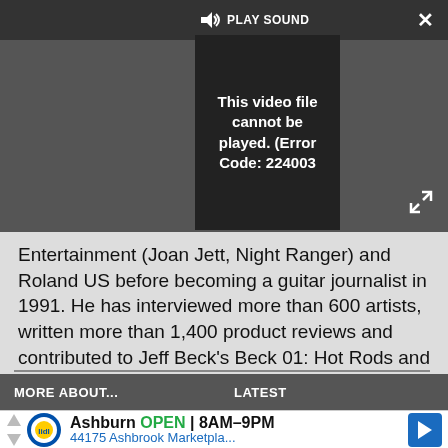[Figure (screenshot): Video player showing error message: 'This video file cannot be played. (Error Code: 224003)' with PLAY SOUND button and close/expand controls on dark background]
Entertainment (Joan Jett, Night Ranger) and Roland US before becoming a guitar journalist in 1991. He has interviewed more than 600 artists, written more than 1,400 product reviews and contributed to Jeff Beck's Beck 01: Hot Rods and Rock & Roll and Eric Clapton's Six String Stories.
MORE ABOUT...
LATEST
[Figure (screenshot): Lidl advertisement banner: Ashburn OPEN 8AM–9PM, 44175 Ashbrook Marketpla...]